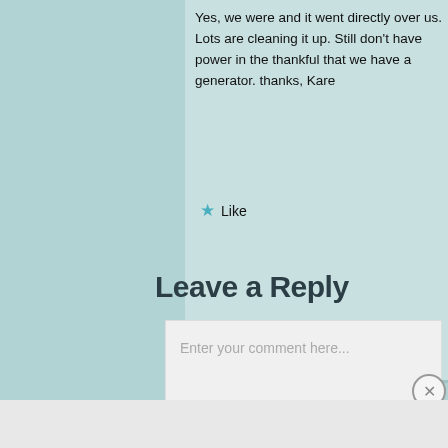Yes, we were and it went directly over us. Lots are cleaning it up. Still don't have power in the thankful that we have a generator. thanks, Kare
★ Like
Leave a Reply
Enter your comment here...
Advertisements
REPORT THIS AD